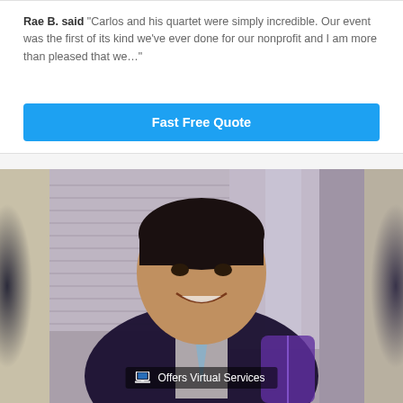Rae B. said "Carlos and his quartet were simply incredible. Our event was the first of its kind we've ever done for our nonprofit and I am more than pleased that we..."
Fast Free Quote
[Figure (photo): Portrait photo of a man in a dark suit with a blue tie, smiling, holding a guitar, standing near window blinds and curtains]
Offers Virtual Services